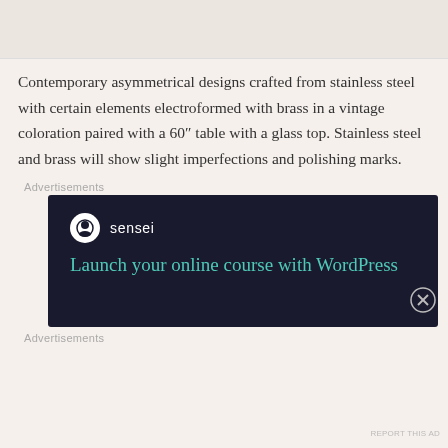[Figure (photo): Partial image at top of page, light beige/tan background area]
Contemporary asymmetrical designs crafted from stainless steel with certain elements electroformed with brass in a vintage coloration paired with a 60″ table with a glass top. Stainless steel and brass will show slight imperfections and polishing marks.
Advertisements
[Figure (screenshot): Dark navy advertisement banner for Sensei with logo and text: Launch your online course with WordPress]
Advertisements